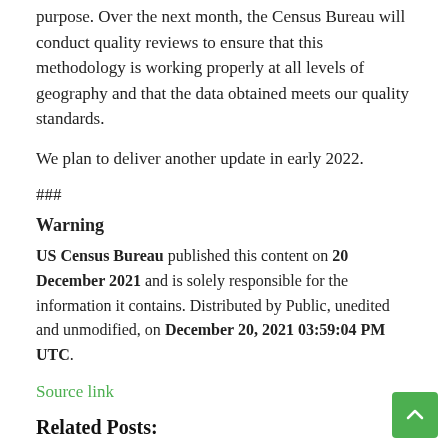purpose. Over the next month, the Census Bureau will conduct quality reviews to ensure that this methodology is working properly at all levels of geography and that the data obtained meets our quality standards.
We plan to deliver another update in early 2022.
###
Warning
US Census Bureau published this content on 20 December 2021 and is solely responsible for the information it contains. Distributed by Public, unedited and unmodified, on December 20, 2021 03:59:04 PM UTC.
Source link
Related Posts:
Denied their chance | Richmond Free Press
in progress in the Greek-American community |